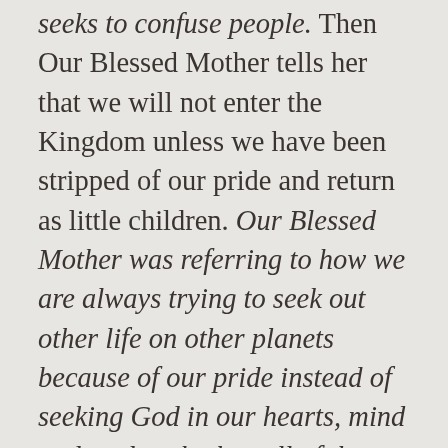seeks to confuse people. Then Our Blessed Mother tells her that we will not enter the Kingdom unless we have been stripped of our pride and return as little children. Our Blessed Mother was referring to how we are always trying to seek out other life on other planets because of our pride instead of seeking God in our hearts, mind and souls, who has all of the answers.
Next, here is a prophet that the website After the Warning has listed, and has been following for a while. A follower of this blog asked that I take a look at it, and this is what Prophet Julie Whedbee is currently receiving